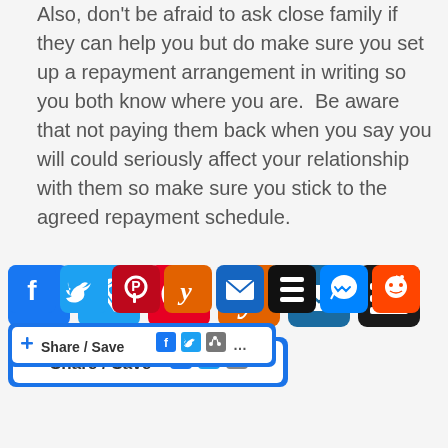Also, don't be afraid to ask close family if they can help you but do make sure you set up a repayment arrangement in writing so you both know where you are.  Be aware that not paying them back when you say you will could seriously affect your relationship with them so make sure you stick to the agreed repayment schedule.
[Figure (infographic): Row of social media share buttons: Facebook (blue), Twitter (blue), Pinterest (red), Yummly (orange), Email (blue), Buffer/layers (black), Messenger (blue), Reddit (orange-red). Below is a Share/Save button strip with Facebook, Twitter, and share icons.]